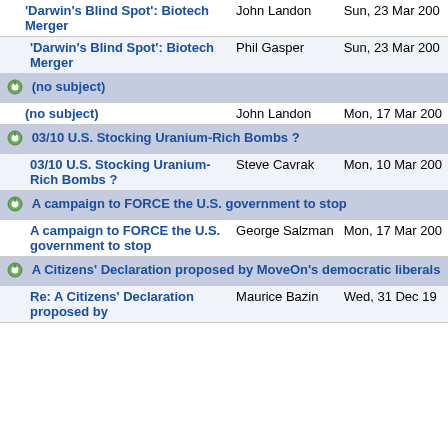| Subject | From | Date |
| --- | --- | --- |
| 'Darwin's Blind Spot': Biotech Merger | John Landon | Sun, 23 Mar 200 |
| 'Darwin's Blind Spot': Biotech Merger (indent) | Phil Gasper | Sun, 23 Mar 200 |
| (no subject) [thread header] |  |  |
| (no subject) | John Landon | Mon, 17 Mar 200 |
| 03/10 U.S. Stocking Uranium-Rich Bombs ? [thread header] |  |  |
| 03/10 U.S. Stocking Uranium-Rich Bombs ? | Steve Cavrak | Mon, 10 Mar 200 |
| A campaign to FORCE the U.S. government to stop [thread header] |  |  |
| A campaign to FORCE the U.S. government to stop | George Salzman | Mon, 17 Mar 200 |
| A Citizens' Declaration proposed by MoveOn's democratic liberals [thread header] |  |  |
| Re: A Citizens' Declaration proposed by | Maurice Bazin | Wed, 31 Dec 19 |